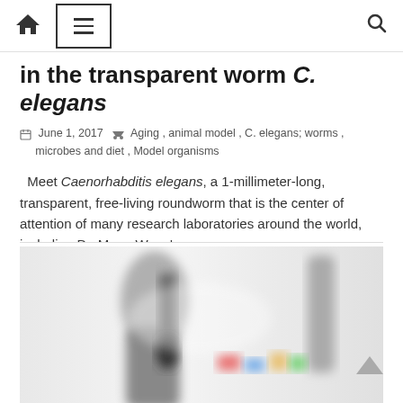Navigation bar with home icon, menu icon, and search icon
in the transparent worm C. elegans
June 1, 2017   Aging, animal model, C. elegans; worms, microbes and diet, Model organisms
Meet Caenorhabditis elegans, a 1-millimeter-long, transparent, free-living roundworm that is the center of attention of many research laboratories around the world, including Dr. Meng Wang's
Read more
[Figure (photo): Blurred photograph of a microscope on a desk with colorful objects in background]